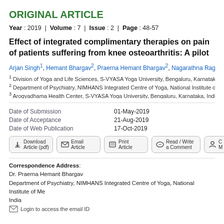ORIGINAL ARTICLE
Year : 2019 | Volume : 7 | Issue : 2 | Page : 48-57
Effect of integrated complimentary therapies on pain of patients suffering from knee osteoarthritis: A pilot study
Arjan Singh1, Hemant Bhargav2, Praerna Hemant Bhargav2, Nagarathna Raghuram3
1 Division of Yoga and Life Sciences, S-VYASA Yoga University, Bengaluru, Karnataka, India
2 Department of Psychiatry, NIMHANS Integrated Centre of Yoga, National Institute of Mental Health And Neurosciences, Bengaluru, India
3 Arogyadhama Health Center, S-VYASA Yoga University, Bengaluru, Karnataka, India
Date of Submission	01-May-2019
Date of Acceptance	21-Aug-2019
Date of Web Publication	17-Oct-2019
[Figure (other): Action buttons: Download Article (pdf), Email Article, Print Article, Read/Write a Comment, (more)]
Correspondence Address:
Dr. Praerna Hemant Bhargav
Department of Psychiatry, NIMHANS Integrated Centre of Yoga, National Institute of Mental Health And Neurosciences, Bengaluru, India
Login to access the email ID